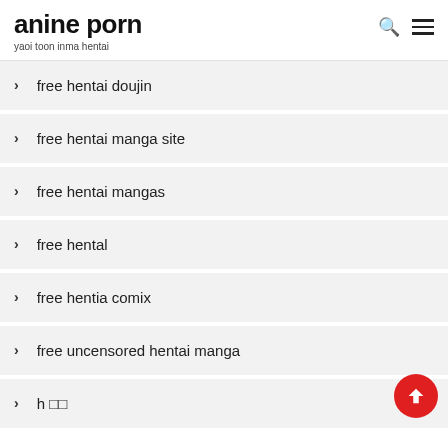anine porn
yaoi toon inma hentai
> free hentai doujin
> free hentai manga site
> free hentai mangas
> free hental
> free hentia comix
> free uncensored hentai manga
> h □□